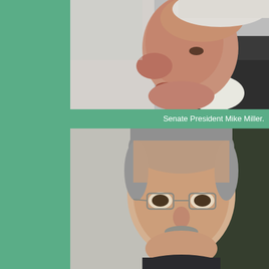[Figure (photo): Close-up profile photo of Senate President Mike Miller, an older man with white hair wearing a dark suit and white shirt, photographed from the side.]
Senate President Mike Miller.
[Figure (photo): Photo of a middle-aged man with gray hair and a mustache wearing glasses and a dark shirt, smiling slightly, photographed outdoors.]